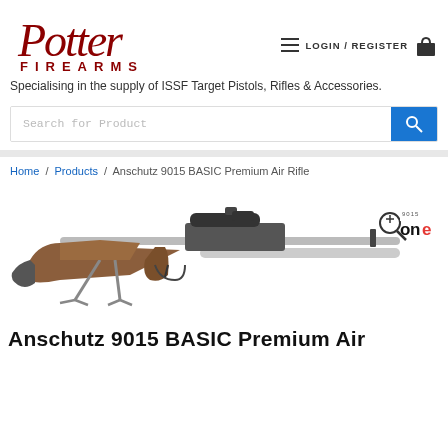[Figure (logo): Potter Firearms logo — script 'Potter' in dark red above block letters 'FIREARMS' in dark red]
LOGIN / REGISTER
Specialising in the supply of ISSF Target Pistols, Rifles & Accessories.
Search for Product
Home / Products / Anschutz 9015 BASIC Premium Air Rifle
[Figure (photo): Anschutz 9015 BASIC Premium Air Rifle shown in profile view — a precision target air rifle with wooden grip, metallic barrel, adjustable stock, and bi-pod stand. Anschutz '9015 ONE' badge visible in lower right corner.]
Anschutz 9015 BASIC Premium Air